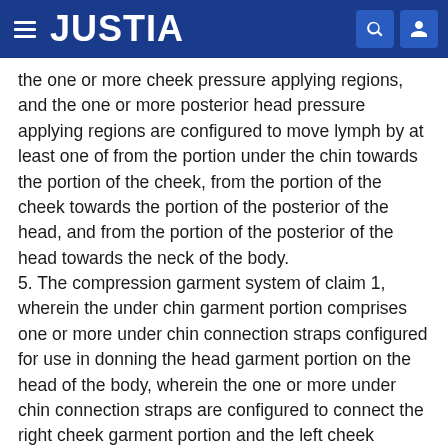JUSTIA
the one or more cheek pressure applying regions, and the one or more posterior head pressure applying regions are configured to move lymph by at least one of from the portion under the chin towards the portion of the cheek, from the portion of the cheek towards the portion of the posterior of the head, and from the portion of the posterior of the head towards the neck of the body.
5. The compression garment system of claim 1, wherein the under chin garment portion comprises one or more under chin connection straps configured for use in donning the head garment portion on the head of the body, wherein the one or more under chin connection straps are configured to connect the right cheek garment portion and the left cheek garment portion.
6. The compression garment system of claim 1, wherein